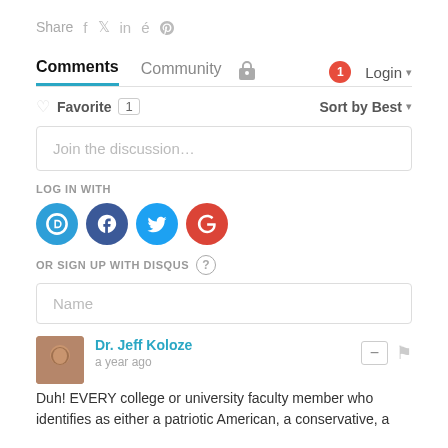Share  f  t  in  p
Comments  Community  🔒  1  Login
♡ Favorite  1   Sort by Best ▾
Join the discussion…
LOG IN WITH
[Figure (logo): Social login icons: Disqus (D), Facebook (f), Twitter bird, Google (G)]
OR SIGN UP WITH DISQUS  (?)
Name
Dr. Jeff Koloze
a year ago
Duh! EVERY college or university faculty member who identifies as either a patriotic American, a conservative, a